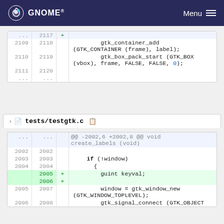GNOME  Menu
[Figure (screenshot): Code diff block showing lines 2109-2120 with gtk_container_add and gtk_box_pack_start additions]
tests/testgtk.c
[Figure (screenshot): Code diff block for tests/testgtk.c showing lines 2002-2008 with added guint keyval, if (!window), window = gtk_window_new, gtk_signal_connect]